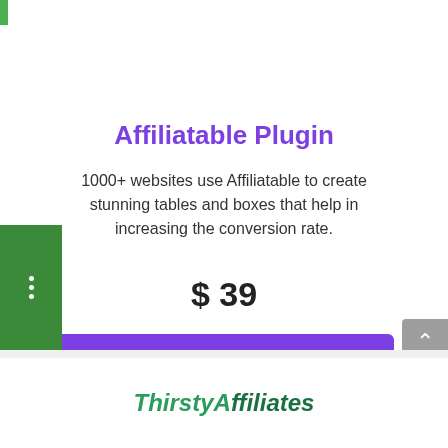Affiliatable Plugin
1000+ websites use Affiliatable to create stunning tables and boxes that help in increasing the conversion rate.
$ 39
VISIT SITE
Read full review
ThirstyAffiliates